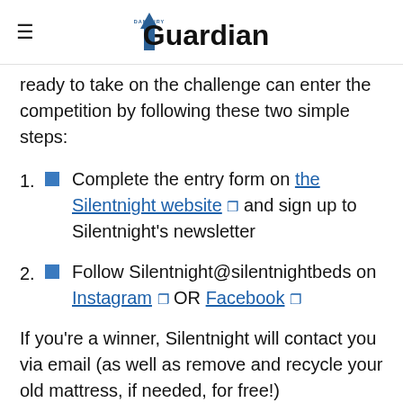Danbury Guardian
ready to take on the challenge can enter the competition by following these two simple steps:
Complete the entry form on the Silentnight website and sign up to Silentnight's newsletter
Follow Silentnight@silentnightbeds on Instagram OR Facebook
If you're a winner, Silentnight will contact you via email (as well as remove and recycle your old mattress, if needed, for free!)